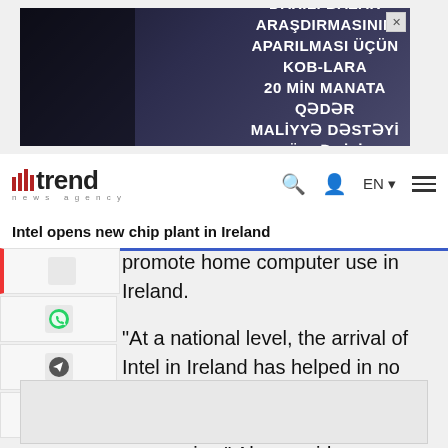[Figure (illustration): Advertisement banner with silhouettes of business people and Azerbaijani text about market research funding for SMEs]
trend news agency | EN
Intel opens new chip plant in Ireland
promote home computer use in Ireland.
"At a national level, the arrival of Intel in Ireland has helped in no small way to put us into the first division of technology-driven economies," Ahern said.